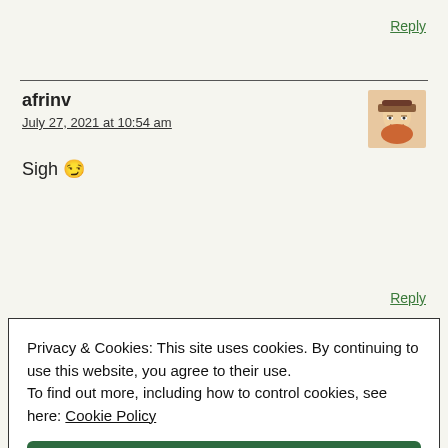Reply
afrinv
July 27, 2021 at 10:54 am
Sigh 😏
Reply
Privacy & Cookies: This site uses cookies. By continuing to use this website, you agree to their use.
To find out more, including how to control cookies, see here: Cookie Policy
Close and accept